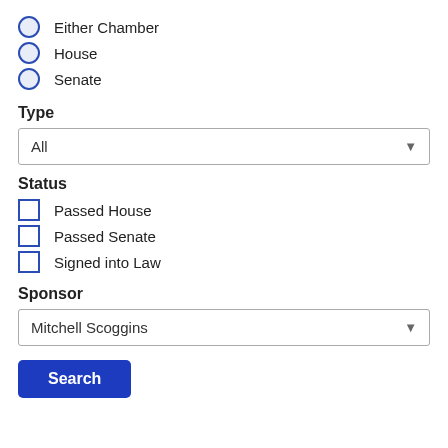Either Chamber
House
Senate
Type
All (dropdown)
Status
Passed House
Passed Senate
Signed into Law
Sponsor
Mitchell Scoggins (dropdown)
Search